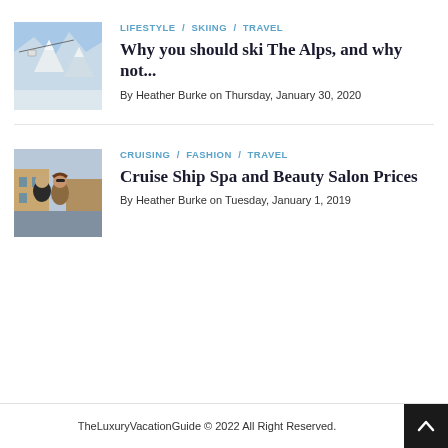LIFESTYLE / SKIING / TRAVEL
Why you should ski The Alps, and why not...
By Heather Burke on Thursday, January 30, 2020
[Figure (photo): Snow-covered alpine mountain with cable car gondola against blue sky]
CRUISING / FASHION / TRAVEL
Cruise Ship Spa and Beauty Salon Prices
By Heather Burke on Tuesday, January 1, 2019
[Figure (photo): Couple posing outdoors in an Italian city, woman with sunglasses]
TheLuxuryVacationGuide © 2022 All Right Reserved.